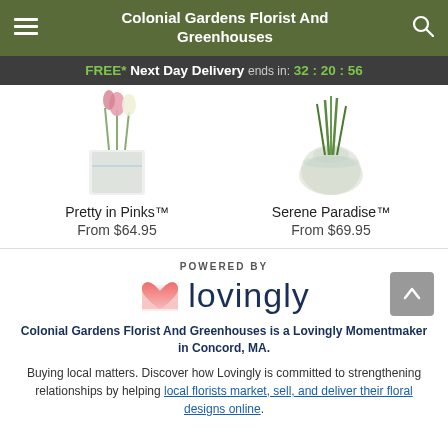Colonial Gardens Florist And Greenhouses
FREE* Next Day Delivery ends in: 32:20:56
[Figure (photo): Two flower arrangements partially visible: left shows pink and white tulips in a square glass vase (Pretty in Pinks), right shows green stems in a round glass vase (Serene Paradise).]
Pretty in Pinks™
From $64.95
Serene Paradise™
From $69.95
POWERED BY
[Figure (logo): Lovingly logo: pink heart/envelope icon followed by the word 'lovingly' in dark navy lowercase letters]
Colonial Gardens Florist And Greenhouses is a Lovingly Momentmaker in Concord, MA.
Buying local matters. Discover how Lovingly is committed to strengthening relationships by helping local florists market, sell, and deliver their floral designs online.